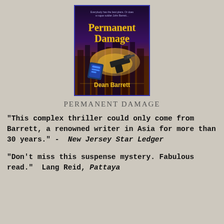[Figure (illustration): Book cover of 'Permanent Damage' by Dean Barrett, showing the title in gold letters on a purple/orange background with a gun, a badge/phone, and a city skyline. Blue border around the cover.]
PERMANENT DAMAGE
"This complex thriller could only come from Barrett, a renowned writer in Asia for more than 30 years." -  New Jersey Star Ledger
"Don't miss this suspense mystery. Fabulous read."  Lang Reid, Pattaya